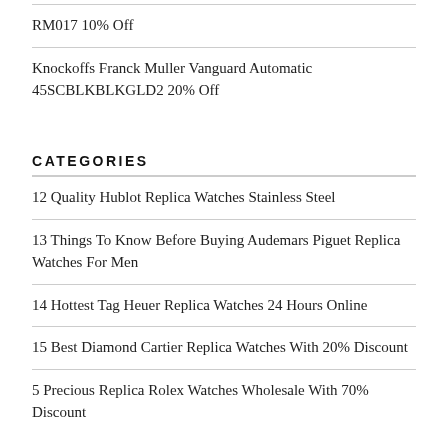RM017 10% Off
Knockoffs Franck Muller Vanguard Automatic 45SCBLKBLKGLD2 20% Off
CATEGORIES
12 Quality Hublot Replica Watches Stainless Steel
13 Things To Know Before Buying Audemars Piguet Replica Watches For Men
14 Hottest Tag Heuer Replica Watches 24 Hours Online
15 Best Diamond Cartier Replica Watches With 20% Discount
5 Precious Replica Rolex Watches Wholesale With 70% Discount